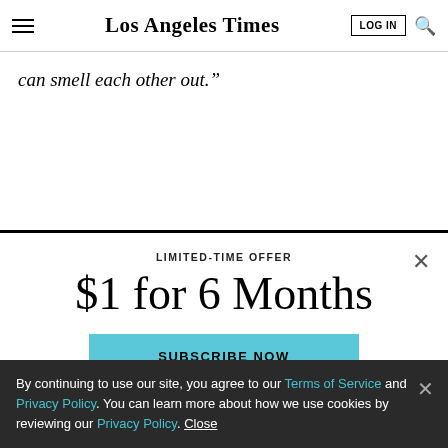Los Angeles Times
can smell each other out.”
LIMITED-TIME OFFER
$1 for 6 Months
SUBSCRIBE NOW
By continuing to use our site, you agree to our Terms of Service and Privacy Policy. You can learn more about how we use cookies by reviewing our Privacy Policy. Close